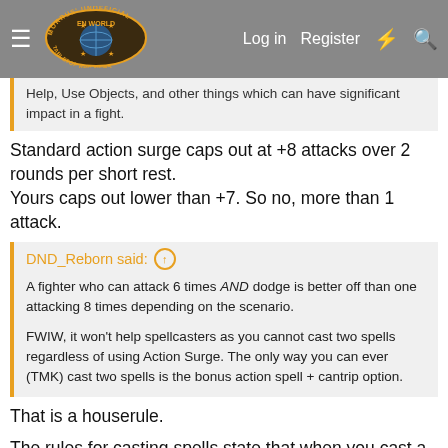Morrus' Unofficial Tabletop RPG News — Log in | Register
Help, Use Objects, and other things which can have significant impact in a fight.
Standard action surge caps out at +8 attacks over 2 rounds per short rest.
Yours caps out lower than +7. So no, more than 1 attack.
DND_Reborn said:
A fighter who can attack 6 times AND dodge is better off than one attacking 8 times depending on the scenario.

FWIW, it won't help spellcasters as you cannot cast two spells regardless of using Action Surge. The only way you can ever (TMK) cast two spells is the bonus action spell + cantrip option.
That is a houserule.
The rules for casting spells state that when you cast a spell